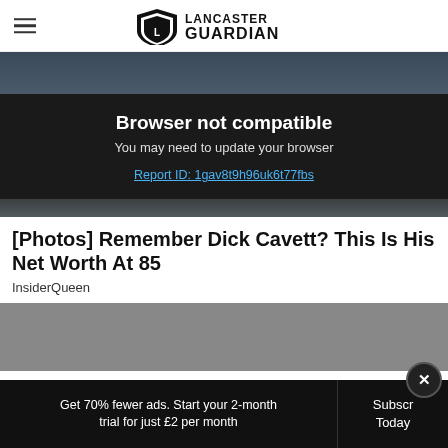Lancaster Guardian
[Figure (screenshot): Dark browser compatibility error overlay on top of a partially visible photo. Text reads: Browser not compatible. You may need to update your browser. Report ID: 1gav8t9h96uk6t77fbs]
[Photos] Remember Dick Cavett? This Is His Net Worth At 85
InsiderQueen
[Figure (other): Grey advertisement placeholder area]
Get 70% fewer ads. Start your 2-month trial for just £2 per month
Subscribe Today